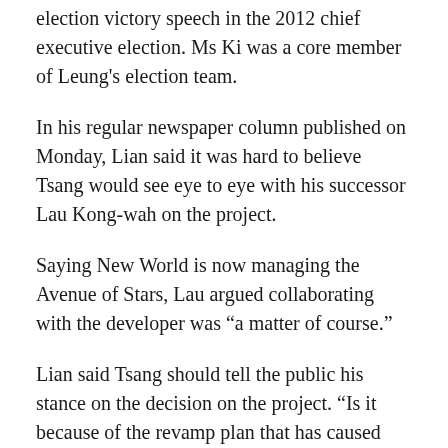election victory speech in the 2012 chief executive election. Ms Ki was a core member of Leung's election team.
In his regular newspaper column published on Monday, Lian said it was hard to believe Tsang would see eye to eye with his successor Lau Kong-wah on the project.
Saying New World is now managing the Avenue of Stars, Lau argued collaborating with the developer was “a matter of course.”
Lian said Tsang should tell the public his stance on the decision on the project. “Is it because of the revamp plan that has caused Leung to give Tsang the marching order?” Lian asked.
In his article, he wrote he has already warned of a